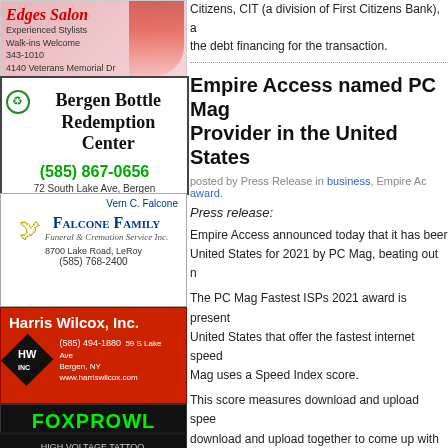[Figure (advertisement): Edges Salon ad - Experienced Stylists, Walk-ins Welcome, 343-1010, 4140 Veterans Memorial Dr]
[Figure (advertisement): Bergen Bottle Redemption Center ad - (585) 867-0656, 72 South Lake Ave, Bergen]
[Figure (advertisement): Falcone Family Funeral & Cremation Service Inc. - Vern C. Falcone, 8700 Lake Road, LeRoy, (585) 768-2400]
[Figure (advertisement): Harris Wilcox, Inc. - (585) 494-1880, 59 S Lake Ave Bergen NY, www.harriswilcox.com]
[Figure (advertisement): FOXPROWL - 440 ELLICOTT St - HIGH VOLTAGE TATTOO]
Citizens, CIT (a division of First Citizens Bank), a the debt financing for the transaction.
Empire Access named PC Mag Provider in the United States
posted by Press Release in business, Empire Ac award.
Press release:
Empire Access announced today that it has been United States for 2021 by PC Mag, beating out n
The PC Mag Fastest ISPs 2021 award is present United States that offer the fastest internet speed Mag uses a Speed Index score.
This score measures download and upload spee download and upload together to come up with th system compares service providers nationwide. P internet service. For the entire United States, Em 366.2, while its closest competition, Google Fibe
“We’re honored to be ranked number one in the Baase, COO of Empire Access. “We take great p available fiber...